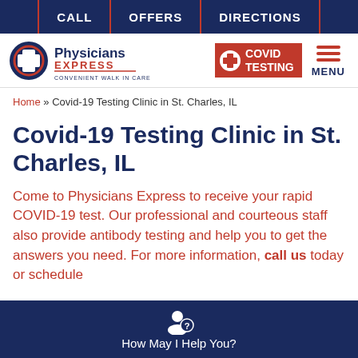CALL | OFFERS | DIRECTIONS
[Figure (logo): Physicians Express - Convenient Walk In Care logo (left) and COVID TESTING badge with menu button (right)]
Home » Covid-19 Testing Clinic in St. Charles, IL
Covid-19 Testing Clinic in St. Charles, IL
Come to Physicians Express to receive your rapid COVID-19 test. Our professional and courteous staff also provide antibody testing and help you to get the answers you need. For more information, call us today or schedule
How May I Help You?